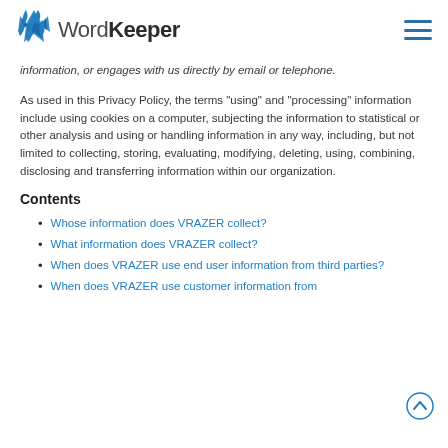WordKeeper
information, or engages with us directly by email or telephone.
As used in this Privacy Policy, the terms “using” and “processing” information include using cookies on a computer, subjecting the information to statistical or other analysis and using or handling information in any way, including, but not limited to collecting, storing, evaluating, modifying, deleting, using, combining, disclosing and transferring information within our organization.
Contents
Whose information does VRAZER collect?
What information does VRAZER collect?
When does VRAZER use end user information from third parties?
When does VRAZER use customer information from